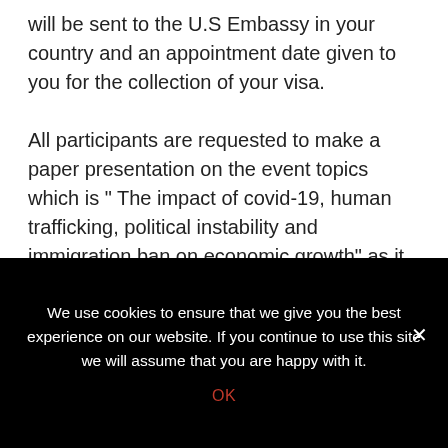will be sent to the U.S Embassy in your country and an appointment date given to you for the collection of your visa.

All participants are requested to make a paper presentation on the event topics which is " The impact of covid-19, human trafficking, political instability and immigration ban on economic growth" as it affects your society, for all documentation will be published by the Global Health and Social Rights Foundation (GHSRF) and certificate will be given to all participants as a representative of 2021 conference meeting.
We use cookies to ensure that we give you the best experience on our website. If you continue to use this site we will assume that you are happy with it.
OK